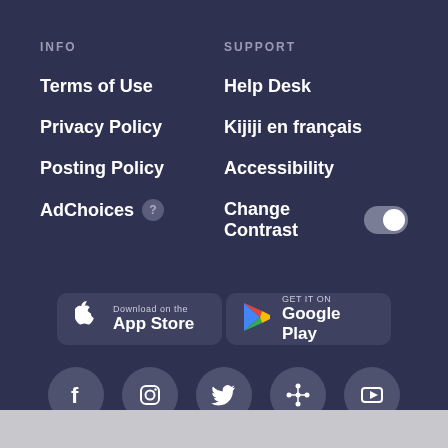INFO
Terms of Use
Privacy Policy
Posting Policy
AdChoices
SUPPORT
Help Desk
Kijiji en français
Accessibility
Change Contrast
[Figure (logo): Download on the App Store button]
[Figure (logo): Get it on Google Play button]
[Figure (infographic): Social media icons row: Facebook, Instagram, Twitter, network/share icon, YouTube]